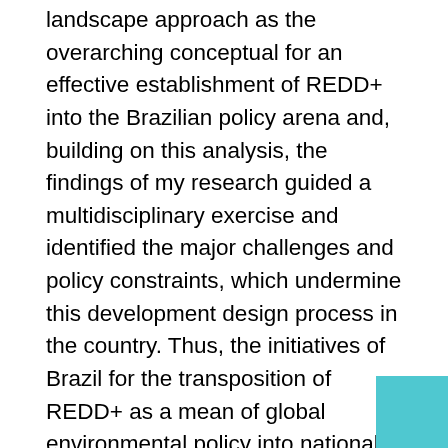landscape approach as the overarching conceptual for an effective establishment of REDD+ into the Brazilian policy arena and, building on this analysis, the findings of my research guided a multidisciplinary exercise and identified the major challenges and policy constraints, which undermine this development design process in the country. Thus, the initiatives of Brazil for the transposition of REDD+ as a mean of global environmental policy into national policy making were discussed. Moreover, the dissertation identified the regulatory and organisational conditions that are most likely to ensure the effective implementation of REDD+. This is necessary to establish the contextual groundwork of regulatory and institutional structures, which will be imperative for REDD+ to promote better governance practices. In addition, this is an interesting, important and timely topic given the ongoing discussions about REDD+ and the challenges surrounding its implementation, in particular for a country